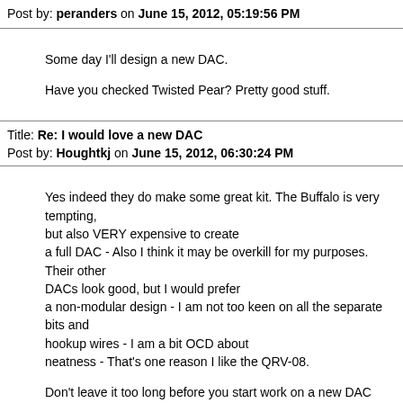Post by: peranders on June 15, 2012, 05:19:56 PM
Some day I'll design a new DAC.

Have you checked Twisted Pear? Pretty good stuff.
Title: Re: I would love a new DAC
Post by: Houghtkj on June 15, 2012, 06:30:24 PM
Yes indeed they do make some great kit. The Buffalo is very tempting, but also VERY expensive to create
a full DAC - Also I think it may be overkill for my purposes. Their other DACs look good, but I would prefer
a non-modular design - I am not too keen on all the separate bits and hookup wires - I am a bit OCD about
neatness - That's one reason I like the QRV-08.

Don't leave it too long before you start work on a new DAC design  :-D

Ken
Title: Re: I would love a new DAC
Post by: mabu0815 on December 29, 2014, 01:07:22 PM
Hi Ken,

Did you know about